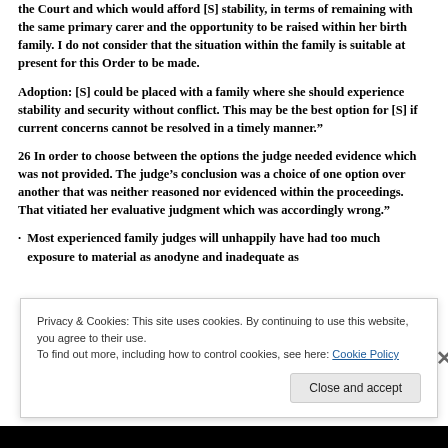the Court and which would afford [S] stability, in terms of remaining with the same primary carer and the opportunity to be raised within her birth family. I do not consider that the situation within the family is suitable at present for this Order to be made.
Adoption: [S] could be placed with a family where she should experience stability and security without conflict. This may be the best option for [S] if current concerns cannot be resolved in a timely manner.”
26 In order to choose between the options the judge needed evidence which was not provided. The judge’s conclusion was a choice of one option over another that was neither reasoned nor evidenced within the proceedings. That vitiated her evaluative judgment which was accordingly wrong.”
·  Most experienced family judges will unhappily have had too much exposure to material as anodyne and inadequate as
Privacy & Cookies: This site uses cookies. By continuing to use this website, you agree to their use. To find out more, including how to control cookies, see here: Cookie Policy